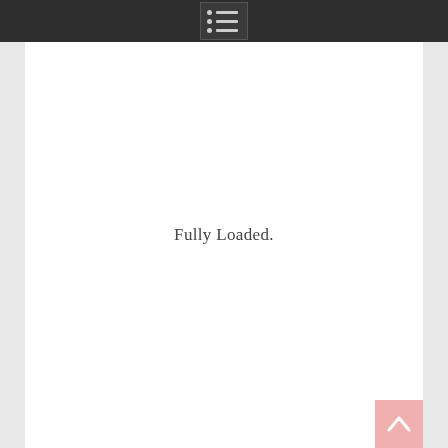[navigation icon]
Fully Loaded.
[Figure (illustration): Back-to-top arrow button in pink/salmon color at bottom right corner]